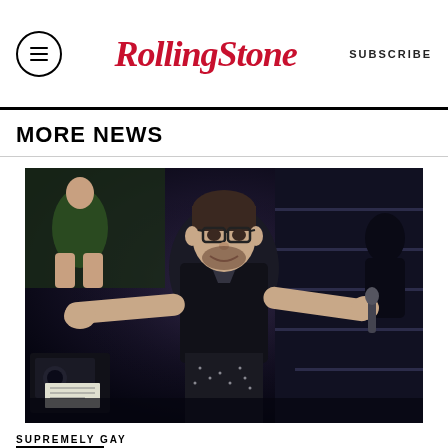Rolling Stone | SUBSCRIBE
MORE NEWS
[Figure (photo): A man in a black sheer shirt with glasses stands on a stage with arms outstretched, holding a microphone in one hand. Audience members are visible in the background.]
SUPREMELY GAY
Billy Eichner Proves Charming The...